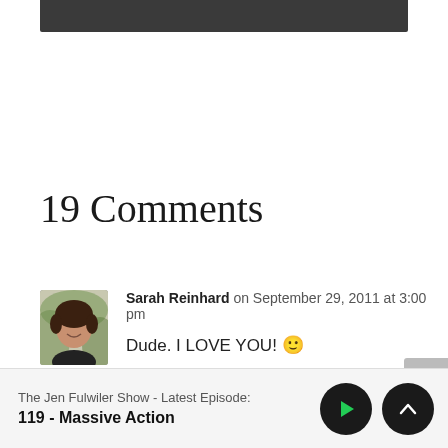[Figure (other): Dark gray header bar at top of page]
19 Comments
Sarah Reinhard on September 29, 2011 at 3:00 pm
Dude. I LOVE YOU! 🙂
The Jen Fulwiler Show - Latest Episode:
119 - Massive Action